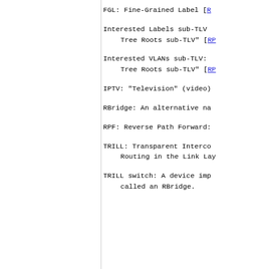FGL: Fine-Grained Label [R...
Interested Labels sub-TLV...
      Tree Roots sub-TLV" [RP...
Interested VLANs sub-TLV:...
      Tree Roots sub-TLV" [RP...
IPTV: "Television" (video)...
RBridge: An alternative na...
RPF: Reverse Path Forward...
TRILL: Transparent Interco...
      Routing in the Link Lay...
TRILL switch: A device imp...
      called an RBridge.